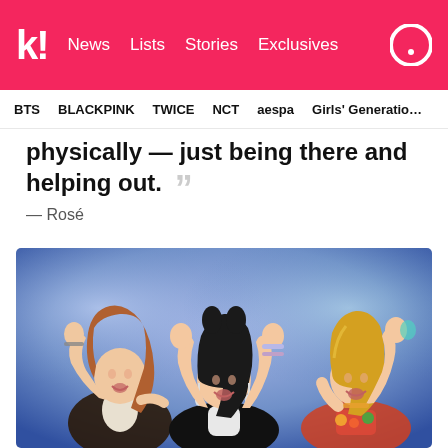k! News  Lists  Stories  Exclusives
BTS  BLACKPINK  TWICE  NCT  aespa  Girls' Generation
physically — just being there and helping out. ””
— Rosé
[Figure (photo): Three women (BLACKPINK members Rosé, Jisoo, Lisa) with arms raised, smiling and celebrating on stage with a blue/purple background lighting.]